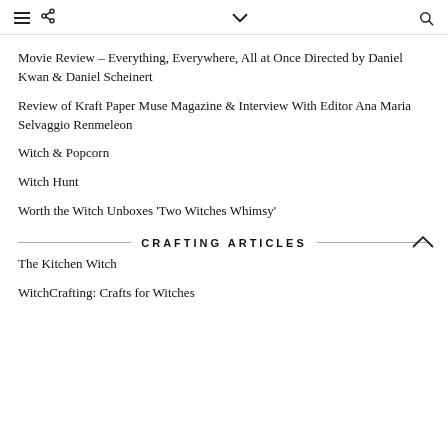≡ < ∨ 🔍
Movie Review – Everything, Everywhere, All at Once Directed by Daniel Kwan & Daniel Scheinert
Review of Kraft Paper Muse Magazine & Interview With Editor Ana Maria Selvaggio Renmeleon
Witch & Popcorn
Witch Hunt
Worth the Witch Unboxes 'Two Witches Whimsy'
CRAFTING ARTICLES
The Kitchen Witch
WitchCrafting: Crafts for Witches